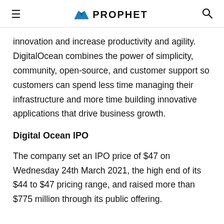PROPHET
innovation and increase productivity and agility. DigitalOcean combines the power of simplicity, community, open-source, and customer support so customers can spend less time managing their infrastructure and more time building innovative applications that drive business growth.
Digital Ocean IPO
The company set an IPO price of $47 on Wednesday 24th March 2021, the high end of its $44 to $47 pricing range, and raised more than $775 million through its public offering.